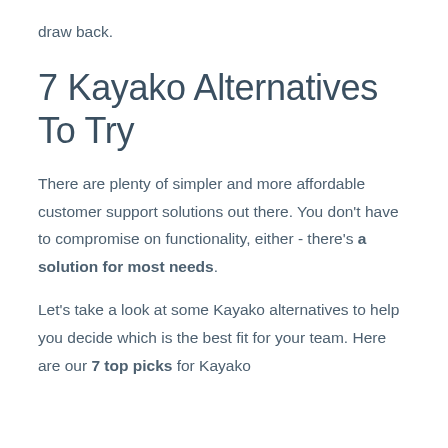draw back.
7 Kayako Alternatives To Try
There are plenty of simpler and more affordable customer support solutions out there. You don’t have to compromise on functionality, either - there’s a solution for most needs.
Let’s take a look at some Kayako alternatives to help you decide which is the best fit for your team. Here are our 7 top picks for Kayako